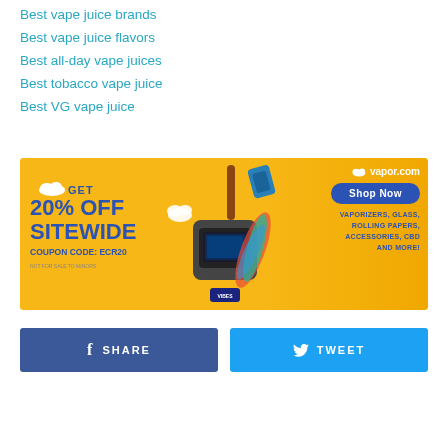Best vape juice brands
Best vape juice flavors
Best all-day vape juices
Best tobacco vape juice
Best VG vape juice
[Figure (infographic): vapor.com advertisement banner: orange/yellow background, 'GET 20% OFF SITEWIDE COUPON CODE: ECR20' in blue bold text on left, vaporizer and accessories product images in center, vapor.com logo and 'Shop Now' button on right with text 'VAPORIZERS, GLASS, ROLLING PAPERS, ACCESSORIES, CBD AND MORE!']
[Figure (infographic): Two social sharing buttons side by side: Facebook 'SHARE' button in dark blue on left, Twitter 'TWEET' button in light blue on right]